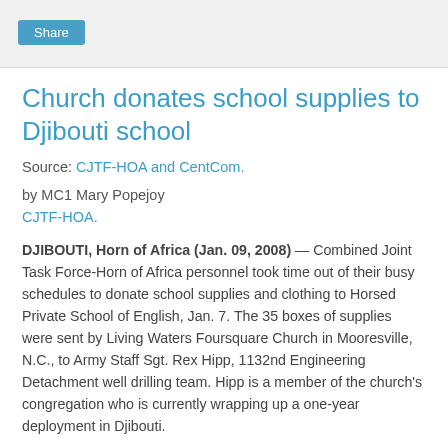Share
Church donates school supplies to Djibouti school
Source: CJTF-HOA and CentCom.
by MC1 Mary Popejoy
CJTF-HOA.
DJIBOUTI, Horn of Africa (Jan. 09, 2008) — Combined Joint Task Force-Horn of Africa personnel took time out of their busy schedules to donate school supplies and clothing to Horsed Private School of English, Jan. 7. The 35 boxes of supplies were sent by Living Waters Foursquare Church in Mooresville, N.C., to Army Staff Sgt. Rex Hipp, 1132nd Engineering Detachment well drilling team. Hipp is a member of the church's congregation who is currently wrapping up a one-year deployment in Djibouti.